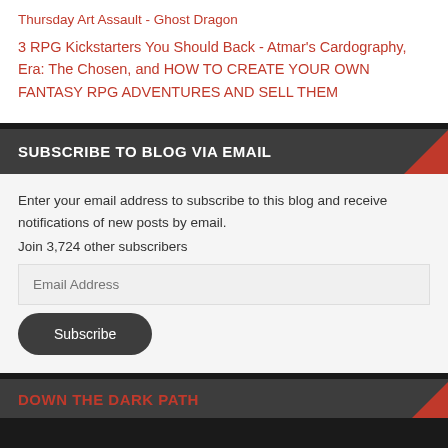Thursday Art Assault - Ghost Dragon
3 RPG Kickstarters You Should Back - Atmar's Cardography, Era: The Chosen, and HOW TO CREATE YOUR OWN FANTASY RPG ADVENTURES AND SELL THEM
SUBSCRIBE TO BLOG VIA EMAIL
Enter your email address to subscribe to this blog and receive notifications of new posts by email.
Join 3,724 other subscribers
Email Address
Subscribe
DOWN THE DARK PATH